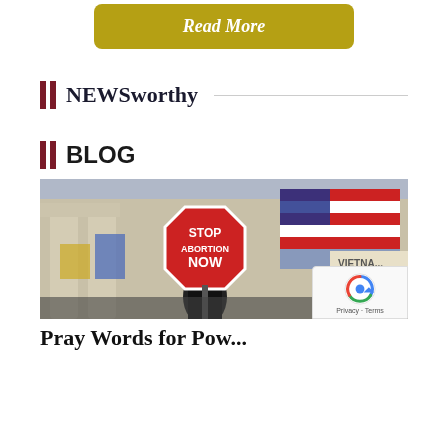Read More
NEWSworthy
BLOG
[Figure (photo): Protest photo showing a person holding a red octagonal 'STOP ABORTION NOW' sign in front of a classical building with American flag in background]
Pray Words for Pow...